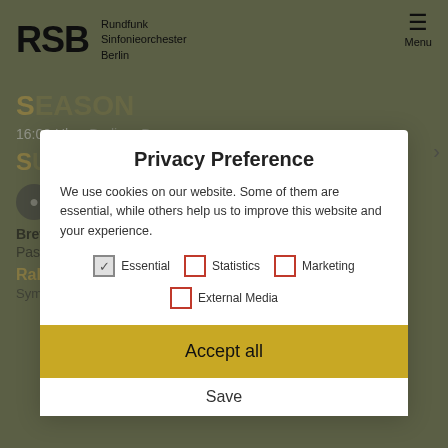RSB Rundfunk Sinfonieorchester Berlin | Menu
[Figure (screenshot): Background website content showing concert listing with yellow titles, navigation arrows, and performer photo circle with 'Photos' label. Brett Dean Pastoral Symphony for chamber orchestra. Ralph Vaughan Williams Symphony No. 3 (A Sea Symphony).]
Privacy Preference
We use cookies on our website. Some of them are essential, while others help us to improve this website and your experience.
Essential (checked)
Statistics
Marketing
External Media
Accept all
Save